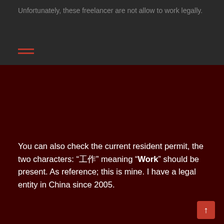Unfortunately, these freelancer are not allow to work legally.
You can also check the current resident permit, the two characters: “工作” meaning “Work” should be present. As reference; this is mine. I have a legal entity in China since 2005.
Is there any risk hiring a freelancer Videographer in Wuxi?
As China is tightening on foreigners presence, it’s getting more complicated to get around the system. The risks may seems quite limited when doing a One to One video interview in an